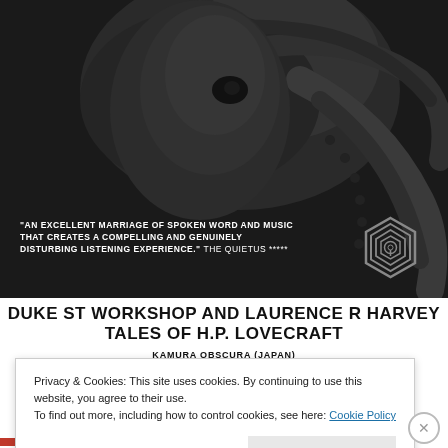[Figure (photo): Black and white close-up photograph of an octopus or tentacled creature, dark and atmospheric background serving as a poster image]
"AN EXCELLENT MARRIAGE OF SPOKEN WORD AND MUSIC THAT CREATES A COMPELLING AND GENUINELY DISTURBING LISTENING EXPERIENCE." THE QUIETUS *****
[Figure (logo): RoboCop-style geometric concentric hexagon/circle logo outline in grey on dark background]
DUKE ST WORKSHOP AND LAURENCE R HARVEY TALES OF H.P. LOVECRAFT
KAMURA OBSCURA (JAPAN)
JUNK PROPS
DJ SSEEAANN RROOEE (JUNKROOM RECORDS)
JAMES KRISZYK (VISUALS)
SVA GOODS SHED, STROUD, GL5 3AP
SATURDAY 25TH JUNE 8PM
£8 ADV / £10 DOOR  TICKETS FROM SVA & ONLINE
Privacy & Cookies: This site uses cookies. By continuing to use this website, you agree to their use.
To find out more, including how to control cookies, see here: Cookie Policy
Close and accept